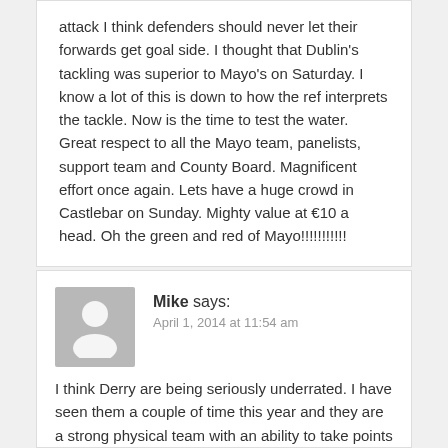attack I think defenders should never let their forwards get goal side. I thought that Dublin's tackling was superior to Mayo's on Saturday. I know a lot of this is down to how the ref interprets the tackle. Now is the time to test the water. Great respect to all the Mayo team, panelists, support team and County Board. Magnificent effort once again. Lets have a huge crowd in Castlebar on Sunday. Mighty value at €10 a head. Oh the green and red of Mayo!!!!!!!!!!!
Mike says: April 1, 2014 at 11:54 am
I think Derry are being seriously underrated. I have seen them a couple of time this year and they are a strong physical team with an ability to take points from long range. They can win away from home (Kerry) so, they wont be intimated coming to Castlebar. The bookies odds are crazy. Good that Derry are already qualified as otherwise I would not be surprised at all if they turned us over. Expect a very tight game.